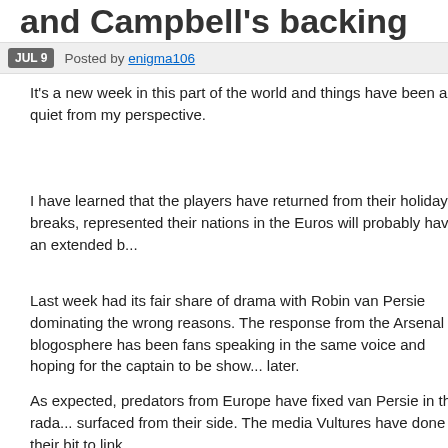and Campbell's backing
JUL 9   Posted by enigma106
It's a new week in this part of the world and things have been a bit quiet from my perspective.
I have learned that the players have returned from their holiday breaks, represented their nations in the Euros will probably have an extended b...
Last week had its fair share of drama with Robin van Persie dominating the wrong reasons. The response from the Arsenal blogosphere has been fans speaking in the same voice and hoping for the captain to be show... later.
As expected, predators from Europe have fixed van Persie in their rada... surfaced from their side. The media Vultures have done their bit to link...